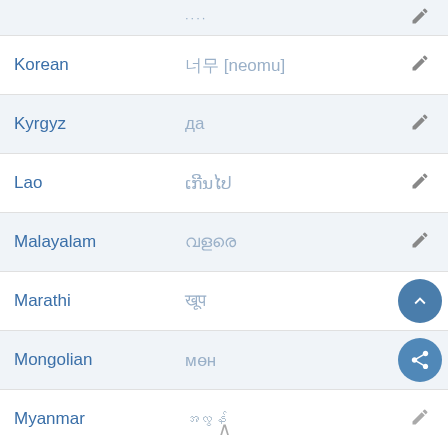| Language | Translation | Edit |
| --- | --- | --- |
| Korean | 너무 [neomu] | ✏ |
| Kyrgyz | да | ✏ |
| Lao | ເກີນໄປ | ✏ |
| Malayalam | വളരെ | ✏ |
| Marathi | खूप | ✏ |
| Mongolian | мөн | ✏ |
| Myanmar | အလွန် | ✏ |